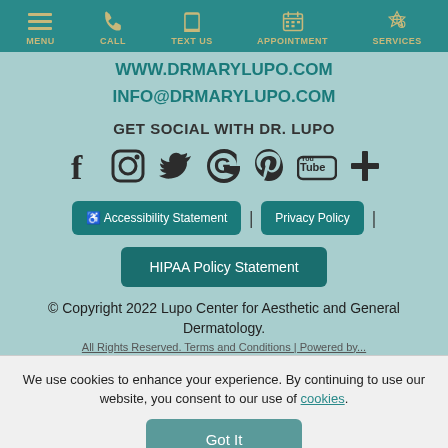MENU | CALL | TEXT US | APPOINTMENT | SERVICES
WWW.DRMARYLUPO.COM
INFO@DRMARYLUPO.COM
GET SOCIAL WITH DR. LUPO
[Figure (other): Social media icons: Facebook, Instagram, Twitter, Google, Pinterest, YouTube, More]
Accessibility Statement | Privacy Policy | HIPAA Policy Statement
© Copyright 2022 Lupo Center for Aesthetic and General Dermatology.
All Rights Reserved. Terms and Conditions | Powered by...
We use cookies to enhance your experience. By continuing to use our website, you consent to our use of cookies.
Got It